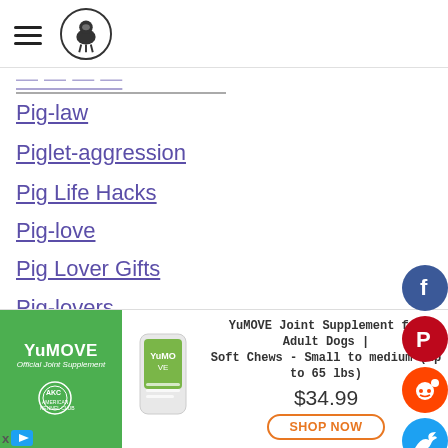[hamburger menu] [logo: pig/emu icon]
Pig-law
Piglet-aggression
Pig Life Hacks
Pig-love
Pig Lover Gifts
Pig-lovers
Pig Myths
Pig Needs A New Home
Pig Nutrition
Pig-parasites
[Figure (other): Social media share icons: Facebook (blue), Pinterest (red), Reddit (orange-red), Twitter (blue), Tumblr (dark), Blogger (orange)]
parent (partially visible)
[Figure (infographic): YuMOVE advertisement banner: green left panel with YuMOVE logo and American Kennel Club badge, product image in center, text 'YuMOVE Joint Supplement for Adult Dogs | Soft Chews - Small to medium (up to 65 lbs)', price $34.99, SHOP NOW button]